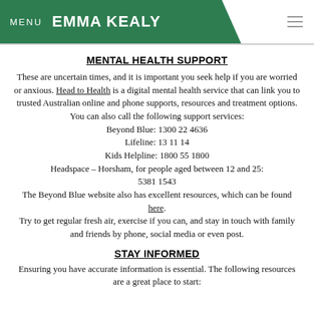MENU  EMMA KEALY
MENTAL HEALTH SUPPORT
These are uncertain times, and it is important you seek help if you are worried or anxious. Head to Health is a digital mental health service that can link you to trusted Australian online and phone supports, resources and treatment options. You can also call the following support services:
Beyond Blue: 1300 22 4636
Lifeline: 13 11 14
Kids Helpline: 1800 55 1800
Headspace – Horsham, for people aged between 12 and 25: 5381 1543
The Beyond Blue website also has excellent resources, which can be found here.
Try to get regular fresh air, exercise if you can, and stay in touch with family and friends by phone, social media or even post.
STAY INFORMED
Ensuring you have accurate information is essential. The following resources are a great place to start: